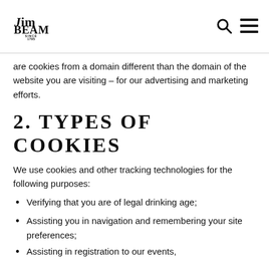Jim Beam Since 1795
are cookies from a domain different than the domain of the website you are visiting – for our advertising and marketing efforts.
2. TYPES OF COOKIES
We use cookies and other tracking technologies for the following purposes:
Verifying that you are of legal drinking age;
Assisting you in navigation and remembering your site preferences;
Assisting in registration to our events,